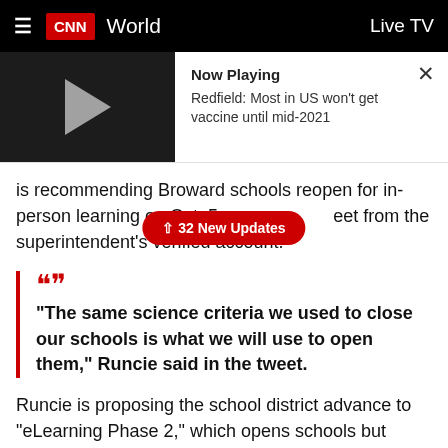≡  CNN  World   Live TV
[Figure (screenshot): Video player thumbnail showing a play button on dark background with 'Now Playing' label and text: Redfield: Most in US won't get vaccine until mid-2021]
is recommending Broward schools reopen for in-person learning on Oct. 5, [32 New Updates] eet from the superintendent's verified account.
"The same science criteria we used to close our schools is what we will use to open them," Runcie said in the tweet.
Runcie is proposing the school district advance to "eLearning Phase 2," which opens schools but allows for learning from home as well, according to the